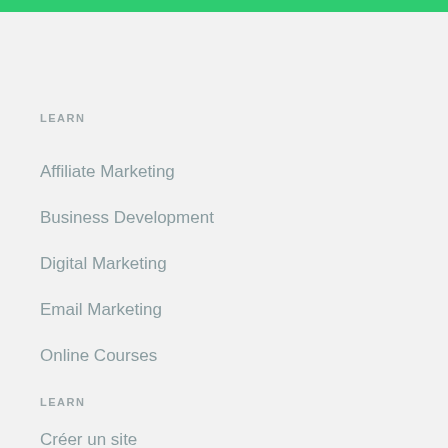LEARN
Affiliate Marketing
Business Development
Digital Marketing
Email Marketing
Online Courses
LEARN
Créer un site